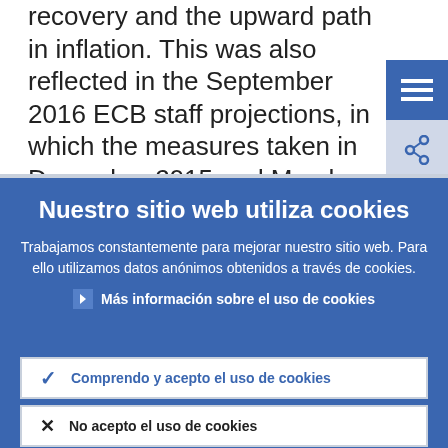recovery and the upward path in inflation. This was also reflected in the September 2016 ECB staff projections, in which the measures taken in December 2015 and March 2016 were estimated to have a
Nuestro sitio web utiliza cookies
Trabajamos constantemente para mejorar nuestro sitio web. Para ello utilizamos datos anónimos obtenidos a través de cookies.
Más información sobre el uso de cookies
Comprendo y acepto el uso de cookies
No acepto el uso de cookies